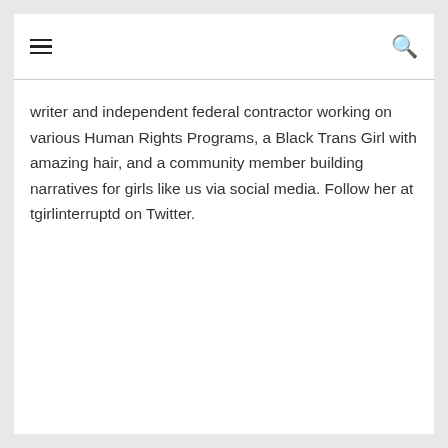≡  🔍
writer and independent federal contractor working on various Human Rights Programs, a Black Trans Girl with amazing hair, and a community member building narratives for girls like us via social media. Follow her at tgirlinterruptd on Twitter.